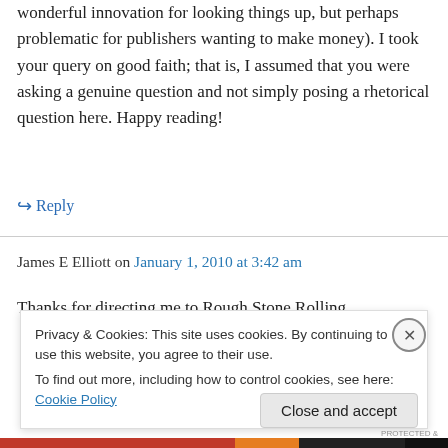wonderful innovation for looking things up, but perhaps problematic for publishers wanting to make money). I took your query on good faith; that is, I assumed that you were asking a genuine question and not simply posing a rhetorical question here. Happy reading!
↪ Reply
James E Elliott on January 1, 2010 at 3:42 am
Thanks for directing me to Rough Stone Rolling
Privacy & Cookies: This site uses cookies. By continuing to use this website, you agree to their use.
To find out more, including how to control cookies, see here: Cookie Policy
Close and accept